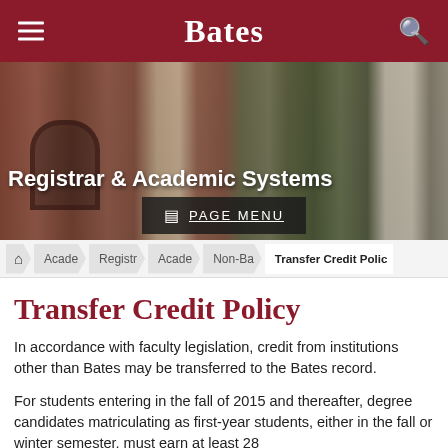Bates
[Figure (photo): Bates College campus building with brick arch and green foliage, hero image for Registrar & Academic Systems page]
Registrar & Academic Systems
PAGE MENU
Acade / Registr / Acade / Non-Ba / Transfer Credit Polic
Transfer Credit Policy
In accordance with faculty legislation, credit from institutions other than Bates may be transferred to the Bates record.
For students entering in the fall of 2015 and thereafter, degree candidates matriculating as first-year students, either in the fall or winter semester, must earn at least 28